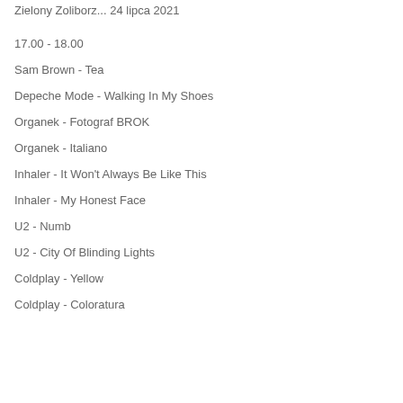Zielony Zoliborz... 24 lipca 2021
17.00 - 18.00
Sam Brown - Tea
Depeche Mode - Walking In My Shoes
Organek - Fotograf BROK
Organek - Italiano
Inhaler - It Won't Always Be Like This
Inhaler - My Honest Face
U2 - Numb
U2 - City Of Blinding Lights
Coldplay - Yellow
Coldplay - Coloratura